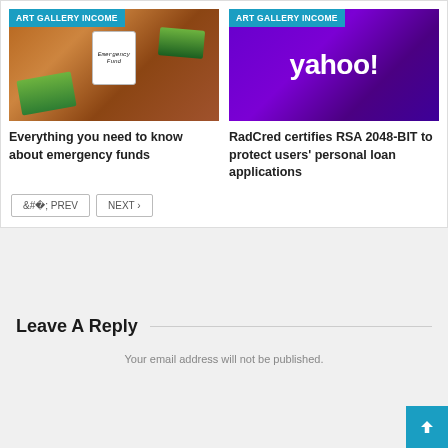[Figure (photo): Emergency fund jar with dollar bills on wooden table]
[Figure (logo): Yahoo! logo on purple gradient background]
Everything you need to know about emergency funds
RadCred certifies RSA 2048-BIT to protect users’ personal loan applications
< PREV
NEXT >
Leave A Reply
Your email address will not be published.